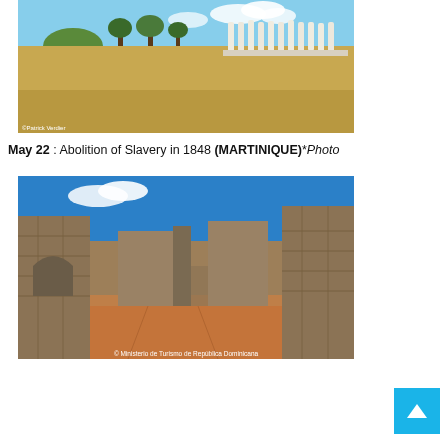[Figure (photo): Outdoor sandy landscape near coast with white human-figure sculptures arranged in a row and trees in background, with a small rocky island visible in the sea. Photo credit: Patrick Verdier.]
May 22 : Abolition of Slavery in 1848 (MARTINIQUE)*Photo
[Figure (photo): Stone ruins of an old building or fort against a blue sky with red/brown ground. Photo credit: © Ministerio de Turismo de República Dominicana.]